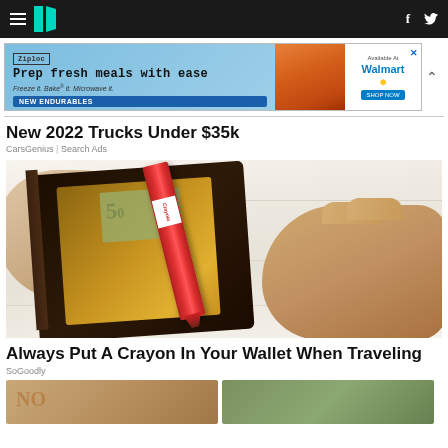HuffPost navigation bar with hamburger menu, logo, Facebook and Twitter icons
[Figure (other): Ziploc advertisement banner: 'Prep fresh meals with ease. Freeze it. Bake it. Microwave it. New Endurables. Available at Walmart.']
New 2022 Trucks Under $35k
CarsGenius | Search Ads
[Figure (photo): Hands holding open a dark brown leather wallet containing a red Crayola crayon and what appears to be paper currency, on a white wooden surface background.]
Always Put A Crayon In Your Wallet When Traveling
SoGoodly